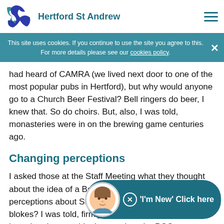Hertford St Andrew
This site uses cookies. If you continue to use the site you agree to this. For more details please see our cookies policy.
had heard of CAMRA (we lived next door to one of the most popular pubs in Hertford), but why would anyone go to a Church Beer Festival? Bell ringers do beer, I knew that. So do choirs. But, also, I was told, monasteries were in on the brewing game centuries ago.
Changing perceptions
I asked those at the Staff Meeting what they thought about the idea of a Beer Festival as a way of changing perceptions about St Andrew's and doing some r blokes? I was told, firmly, that it is not just 'blo like beer, but they would take it to the PCC.